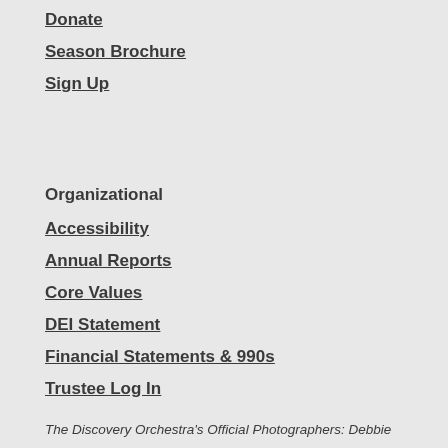Donate
Season Brochure
Sign Up
Organizational
Accessibility
Annual Reports
Core Values
DEI Statement
Financial Statements & 990s
Trustee Log In
The Discovery Orchestra's Official Photographers: Debbie